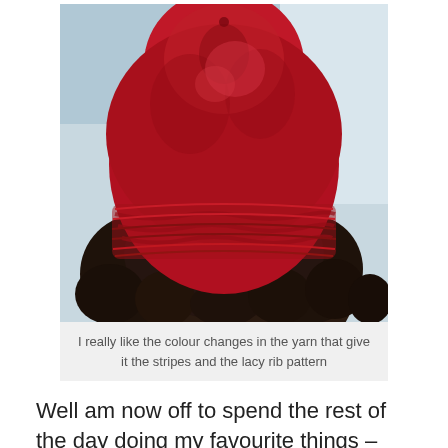[Figure (photo): Back view of a person with dark curly hair wearing a red chunky knitted/crocheted hat with a lacy rib pattern. The hat shows colour changes in the yarn creating stripes. Background is slightly blurred with light coming from a window.]
I really like the colour changes in the yarn that give it the stripes and the lacy rib pattern
Well am now off to spend the rest of the day doing my favourite things – lucky me! Hope that you are